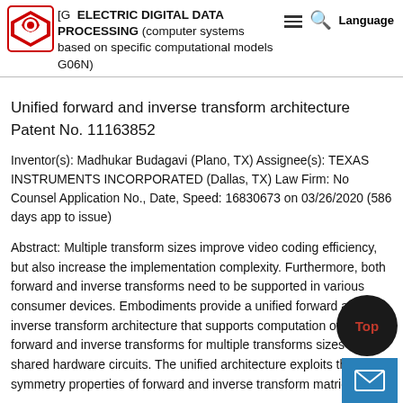[G ELECTRIC DIGITAL DATA PROCESSING (computer systems based on specific computational models G06N)
Unified forward and inverse transform architecture Patent No. 11163852
Inventor(s): Madhukar Budagavi (Plano, TX) Assignee(s): TEXAS INSTRUMENTS INCORPORATED (Dallas, TX) Law Firm: No Counsel Application No., Date, Speed: 16830673 on 03/26/2020 (586 days app to issue)
Abstract: Multiple transform sizes improve video coding efficiency, but also increase the implementation complexity. Furthermore, both forward and inverse transforms need to be supported in various consumer devices. Embodiments provide a unified forward and inverse transform architecture that supports computation of both forward and inverse transforms for multiple transforms sizes using shared hardware circuits. The unified architecture exploits the symmetry properties of forward and inverse transform matrices